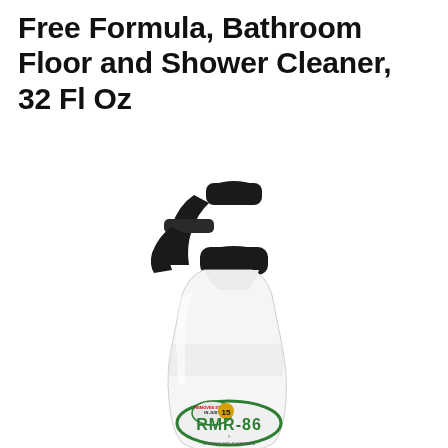Remover Spray – Scrub Free Formula, Bathroom Floor and Shower Cleaner, 32 Fl Oz
[Figure (photo): RMR-86 spray bottle product photo showing a white trigger spray bottle with black sprayer top and green/white label reading 'REMOVES STAINS IN JUST 15 [seconds]' and 'RMR-86' branding]